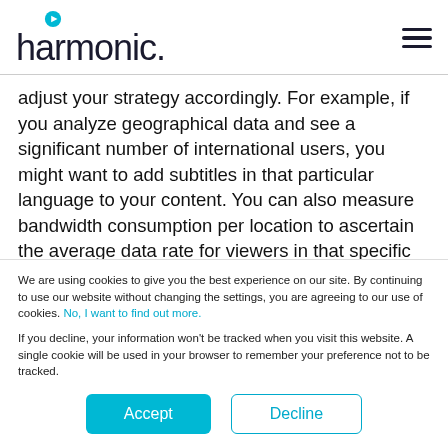[Figure (logo): Harmonic company logo with teal play button icon above the letter h, followed by the word 'harmonic.' in dark navy]
adjust your strategy accordingly. For example, if you analyze geographical data and see a significant number of international users, you might want to add subtitles in that particular language to your content. You can also measure bandwidth consumption per location to ascertain the average data rate for viewers in that specific region. Make sure you also keep a close eye on total bandwidth used to ensure you don't exceed the
We are using cookies to give you the best experience on our site. By continuing to use our website without changing the settings, you are agreeing to our use of cookies. No, I want to find out more.
If you decline, your information won't be tracked when you visit this website. A single cookie will be used in your browser to remember your preference not to be tracked.